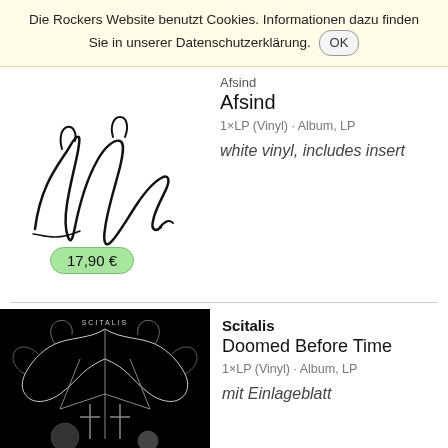Die Rockers Website benutzt Cookies. Informationen dazu finden Sie in unserer Datenschutzerklärung. OK
[Figure (illustration): Afsind album cover showing cursive/calligraphic 'Afsind' signature on white background]
Afsind
Afsind
1×LP (Vinyl) · Album, LP
white vinyl, includes insert
17,90 €
[Figure (illustration): Scitalis 'Doomed Before Time' album cover showing dark black metal artwork with ornate wings/demon imagery against black background]
Scitalis
Doomed Before Time
1×LP (Vinyl) · Album, LP
mit Einlageblatt